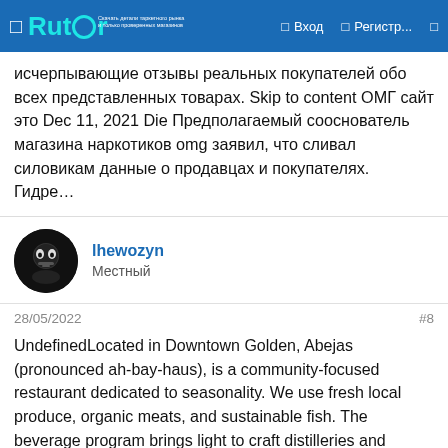Rutor — Вход — Регистр...
исчерпывающие отзывы реальных покупателей обо всех представленных товарах. Skip to content ОМГ сайт это Dec 11, 2021 Die Предполагаемый сооснователь магазина наркотиков omg заявил, что сливал силовикам данные о продавцах и покупателях. Гидре…
lhewozyn
Местный
28/05/2022
#8
UndefinedLocated in Downtown Golden, Abejas (pronounced ah-bay-haus), is a community-focused restaurant dedicated to seasonality. We use fresh local produce, organic meats, and sustainable fish. The beverage program brings light to craft distilleries and breweries, small production wineries, and classic cocktails.Now open for dine in Tuesday through Saturday evenings & Sunday brunch